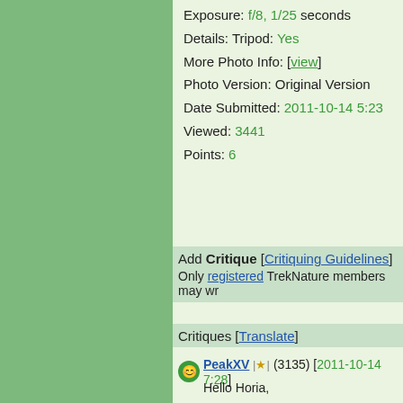Exposure: f/8, 1/25 seconds
Details: Tripod: Yes
More Photo Info: [view]
Photo Version: Original Version
Date Submitted: 2011-10-14 5:23
Viewed: 3441
Points: 6
Add Critique [Critiquing Guidelines]
Only registered TrekNature members may wr...
Critiques [Translate]
PeakXV | ★ | (3135) [2011-10-14 7:28]
Hello Horia,
You have captured a beautiful & pristine v... day is reflected, literally, upon the water's... thi...